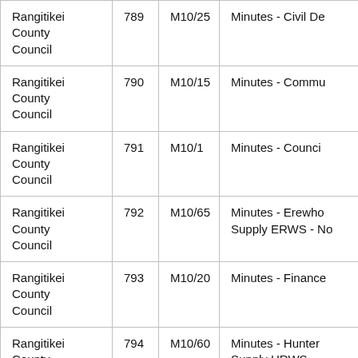| Rangitikei County Council | 789 | M10/25 | Minutes - Civil De |
| Rangitikei County Council | 790 | M10/15 | Minutes - Commu |
| Rangitikei County Council | 791 | M10/1 | Minutes - Counci |
| Rangitikei County Council | 792 | M10/65 | Minutes - Erewho Supply ERWS - No |
| Rangitikei County Council | 793 | M10/20 | Minutes - Finance |
| Rangitikei County Council | 794 | M10/60 | Minutes - Hunter Supply HRWS |